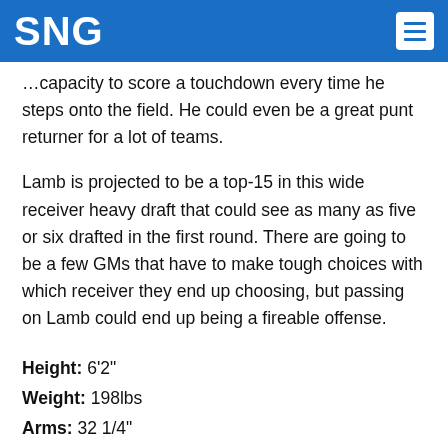SNG
…capacity to score a touchdown every time he steps onto the field. He could even be a great punt returner for a lot of teams.
Lamb is projected to be a top-15 in this wide receiver heavy draft that could see as many as five or six drafted in the first round. There are going to be a few GMs that have to make tough choices with which receiver they end up choosing, but passing on Lamb could end up being a fireable offense.
Height: 6'2"
Weight: 198lbs
Arms: 32 1/4"
Hands: 9 1/4"